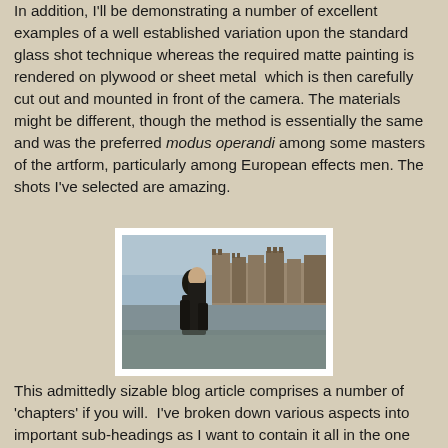In addition, I'll be demonstrating a number of excellent examples of a well established variation upon the standard glass shot technique whereas the required matte painting is rendered on plywood or sheet metal  which is then carefully cut out and mounted in front of the camera. The materials might be different, though the method is essentially the same and was the preferred modus operandi among some masters of the artform, particularly among European effects men. The shots I've selected are amazing.
[Figure (photo): A man in dark clothing walking in front of a detailed European castle or fortified city backdrop, with towers and walls visible against a grey sky.]
This admittedly sizable blog article comprises a number of 'chapters' if you will.  I've broken down various aspects into important sub-headings as I want to contain it all in the one blogpost and never really enjoy breaking these things into subsequent monthly installments as my mind tends to